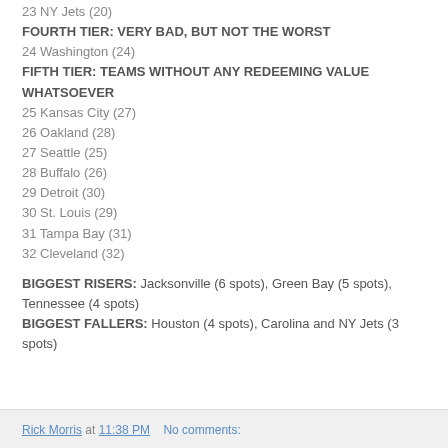23 NY Jets (20)
FOURTH TIER: VERY BAD, BUT NOT THE WORST
24 Washington (24)
FIFTH TIER: TEAMS WITHOUT ANY REDEEMING VALUE WHATSOEVER
25 Kansas City (27)
26 Oakland (28)
27 Seattle (25)
28 Buffalo (26)
29 Detroit (30)
30 St. Louis (29)
31 Tampa Bay (31)
32 Cleveland (32)
BIGGEST RISERS: Jacksonville (6 spots), Green Bay (5 spots), Tennessee (4 spots)
BIGGEST FALLERS: Houston (4 spots), Carolina and NY Jets (3 spots)
Rick Morris at 11:38 PM   No comments: